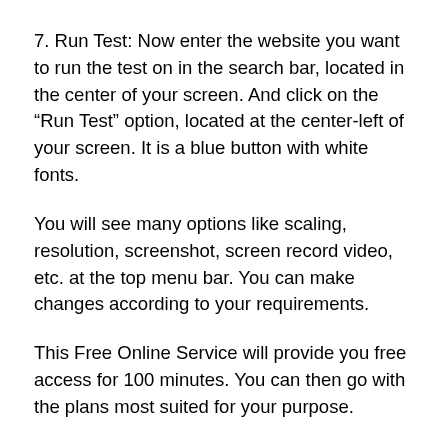7. Run Test: Now enter the website you want to run the test on in the search bar, located in the center of your screen. And click on the “Run Test” option, located at the center-left of your screen. It is a blue button with white fonts.
You will see many options like scaling, resolution, screenshot, screen record video, etc. at the top menu bar. You can make changes according to your requirements.
This Free Online Service will provide you free access for 100 minutes. You can then go with the plans most suited for your purpose.
Conclusion:
Thus, in this article, we saw two methods to use Safari on a